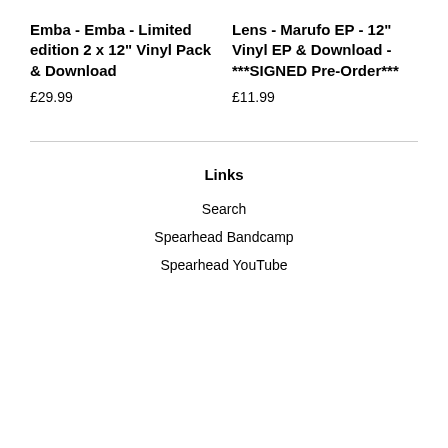Emba - Emba - Limited edition 2 x 12" Vinyl Pack & Download
£29.99
Lens - Marufo EP - 12" Vinyl EP & Download - ***SIGNED Pre-Order***
£11.99
Links
Search
Spearhead Bandcamp
Spearhead YouTube